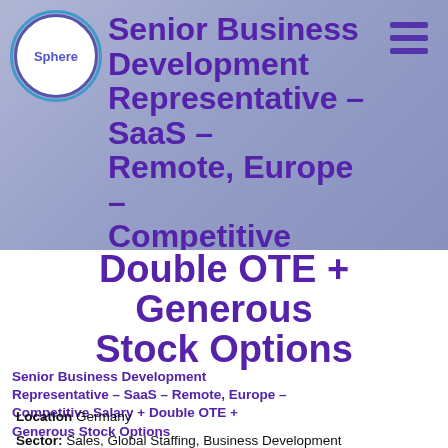[Figure (photo): Background photo of office workers/business people in a blurred office setting with purple/blue overlay. Sphere company logo circle with blue ring accent in top-left. Hamburger menu icon in top-right.]
Senior Business Development Representative – SaaS – Remote, Europe – Competitive Salary + Double OTE + Generous Stock Options
Senior Business Development Representative – SaaS – Remote, Europe – Competitive Salary + Double OTE + Generous Stock Options
Location Germany
Sector: Sales, Global Staffing, Business Development